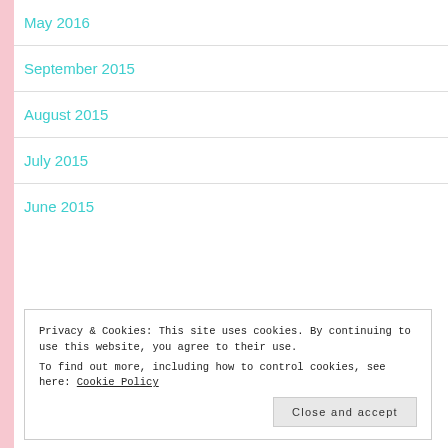May 2016
September 2015
August 2015
July 2015
June 2015
Privacy & Cookies: This site uses cookies. By continuing to use this website, you agree to their use.
To find out more, including how to control cookies, see here: Cookie Policy
Close and accept